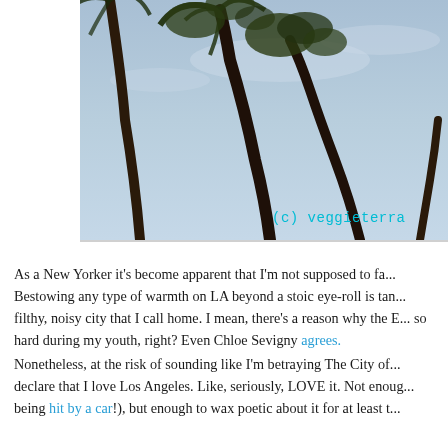[Figure (photo): Photo of tall palm trees shot from below against a grey-blue sky, with teal copyright watermark '(c) veggieterra' in the lower right corner.]
As a New Yorker it's become apparent that I'm not supposed to fa... Bestowing any type of warmth on LA beyond a stoic eye-roll is tan... filthy, noisy city that I call home. I mean, there's a reason why the E... so hard during my youth, right? Even Chloe Sevigny agrees.
Nonetheless, at the risk of sounding like I'm betraying The City of... declare that I love Los Angeles. Like, seriously, LOVE it. Not enoug... being hit by a car!), but enough to wax poetic about it for at least t...